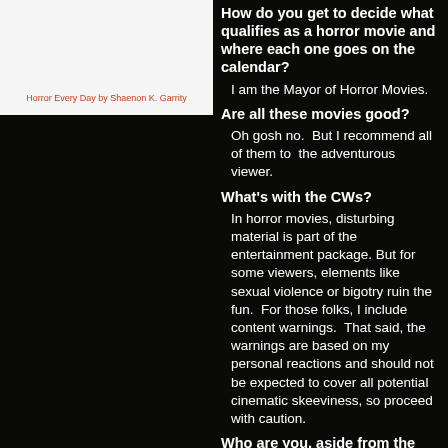[Figure (other): Book cover image for 'Horror Every Day by Shaenon K. Garrity' on white background]
Horror Every Day by Shaenon K. Garrity
How do you get to decide what qualifies as a horror movie and where each one goes on the calendar?
I am the Mayor of Horror Movies.
Are all these movies good?
Oh gosh no.  But I recommend all of them to  the adventurous viewer.
What's with the CWs?
In horror movies, disturbing material is part of the entertainment package. But for some viewers, elements like sexual violence or bigotry ruin the fun.  For those folks, I include content warnings.  That said, the warnings are based on my personal reactions and should not be expected to cover all potential cinematic skeeviness, so proceed with caution.
Who are you, aside from the mayor?